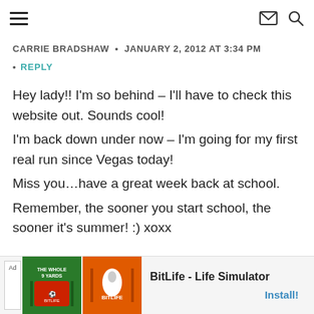☰  ✉ 🔍
CARRIE BRADSHAW • JANUARY 2, 2012 AT 3:34 PM
• REPLY
Hey lady!! I'm so behind – I'll have to check this website out. Sounds cool!
I'm back down under now – I'm going for my first real run since Vegas today!
Miss you…have a great week back at school.
Remember, the sooner you start school, the sooner it's summer! :) xoxx
[Figure (infographic): Advertisement banner for BitLife - Life Simulator app with green and orange game imagery and Install button]